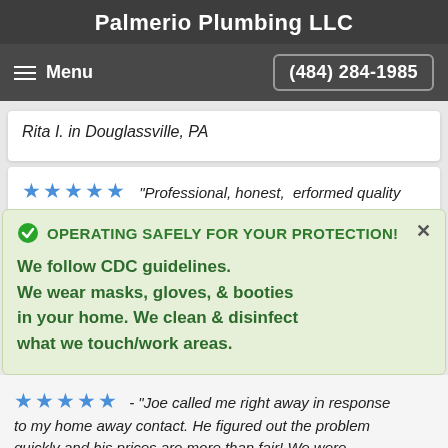Palmerio Plumbing LLC
Menu  (484) 284-1985
Rita I. in Douglassville, PA
★★★★★  "Professional, honest, erformed quality
OPERATING SAFELY FOR YOUR PROTECTION!
We follow CDC guidelines.
We wear masks, gloves, & booties in your home. We clean & disinfect what we touch/work areas.
★★★★★ - "Joe called me right away in response to my home away contact. He figured out the problem quickly and his prices are more than fair! We were
to my home away contact. He figured out the problem quickly and his prices are more than fair! We were